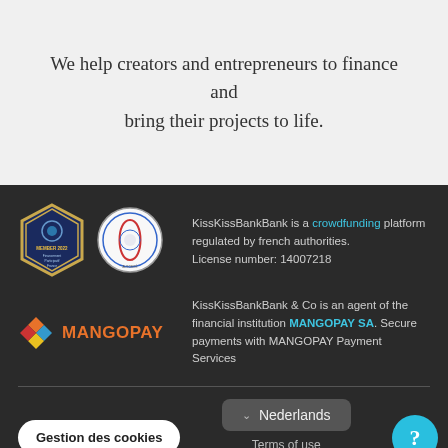We help creators and entrepreneurs to finance and bring their projects to life.
KissKissBankBank is a crowdfunding platform regulated by french authorities. License number: 14007218
[Figure (logo): Hexagon-shaped blue membership badge with gold border labeled MEMBER 2022 Financement Participatif France]
[Figure (logo): Circular French regulatory authority seal]
[Figure (logo): MANGOPAY logo with colorful diamond icon and orange text]
KissKissBankBank & Co is an agent of the financial institution MANGOPAY SA. Secure payments with MANGOPAY Payment Services
Gestion des cookies
Nederlands
Terms of use
Legal Notice